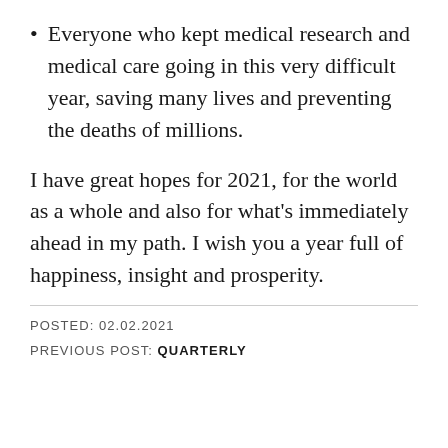Everyone who kept medical research and medical care going in this very difficult year, saving many lives and preventing the deaths of millions.
I have great hopes for 2021, for the world as a whole and also for what’s immediately ahead in my path. I wish you a year full of happiness, insight and prosperity.
POSTED: 02.02.2021
PREVIOUS POST: QUARTERLY